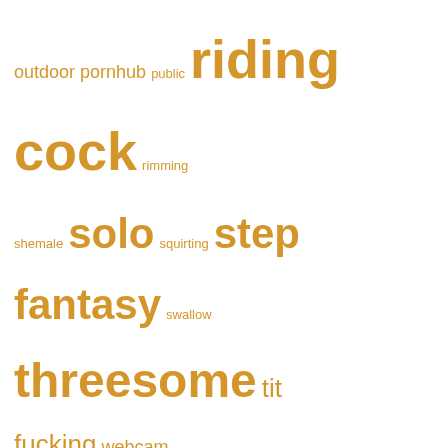[Figure (infographic): Tag cloud with terms in golden/orange color on white background: outdoor, pornhub, public (small), riding cock (very large), rimming (small), shemale (small), solo (large), squirting (small), step fantasy (very large), swallow (small), threesome (very large), tit fucking (large), webcam (medium)]
VIDEO DURATION 0 – 3 MIN
VIDEO DURATION 3 – 10 MIN
VIDEO DURATION 10 – 20 MIN
VIDEO DURATION + 20 MIN